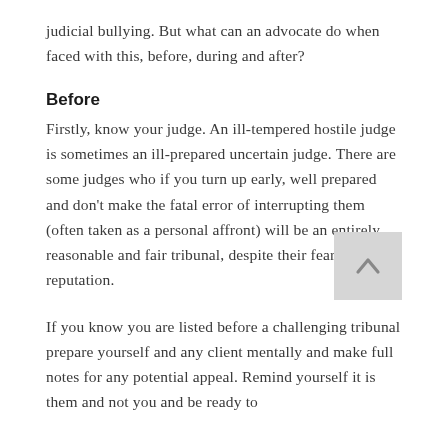judicial bullying. But what can an advocate do when faced with this, before, during and after?
Before
Firstly, know your judge. An ill-tempered hostile judge is sometimes an ill-prepared uncertain judge. There are some judges who if you turn up early, well prepared and don't make the fatal error of interrupting them (often taken as a personal affront) will be an entirely reasonable and fair tribunal, despite their fearful reputation.
If you know you are listed before a challenging tribunal prepare yourself and any client mentally and make full notes for any potential appeal. Remind yourself it is them and not you and be ready to